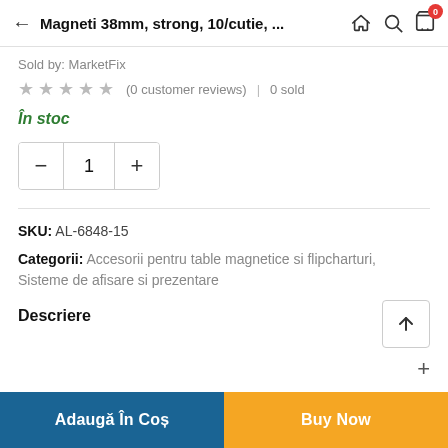Magneti 38mm, strong, 10/cutie, ...
Sold by: MarketFix
★★★★★ (0 customer reviews) | 0 sold
În stoc
Quantity: 1
SKU: AL-6848-15
Categorii: Accesorii pentru table magnetice si flipcharturi, Sisteme de afisare si prezentare
Descriere
Adaugă În Coș
Buy Now